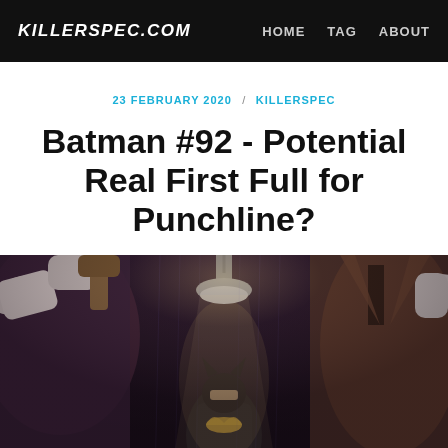KILLERSPEC.COM  HOME  TAG  ABOUT
23 FEBRUARY 2020 / KILLERSPEC
Batman #92 - Potential Real First Full for Punchline?
[Figure (illustration): Batman comic book cover art showing two large figures on the left and right flanking Batman in the center, who is illuminated by a spotlight from above. Dark, dramatic coloring with purples, blacks, and browns.]